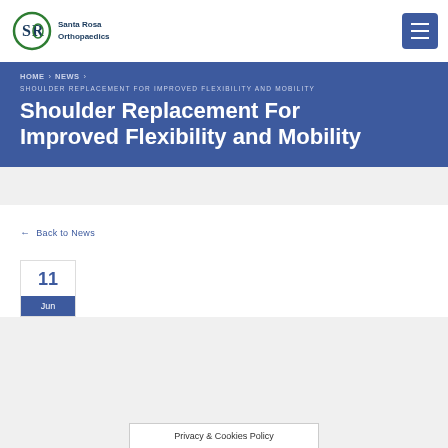Santa Rosa Orthopaedics
HOME > NEWS > SHOULDER REPLACEMENT FOR IMPROVED FLEXIBILITY AND MOBILITY
Shoulder Replacement For Improved Flexibility and Mobility
← Back to News
11 Jun
Privacy & Cookies Policy